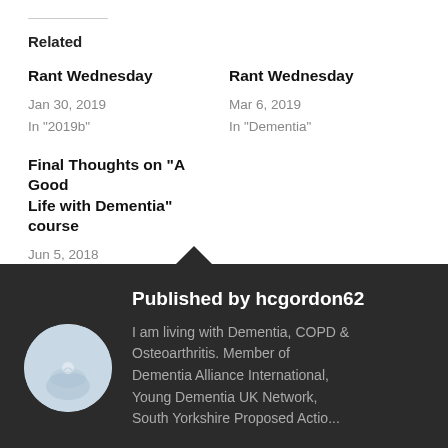Related
Rant Wednesday
Jan 30, 2019
In "2019b"
Rant Wednesday
Mar 6, 2019
In "Dementia"
Final Thoughts on “A Good Life with Dementia” course
Jun 5, 2018
In "The A Good Life with Dementia Course"
Published by hcgordon62
I am living with Dementia, COPD & Osteoarthritis. Member of Dementia Alliance International, Young Dementia UK Network, South Yorkshire Proposed Action...